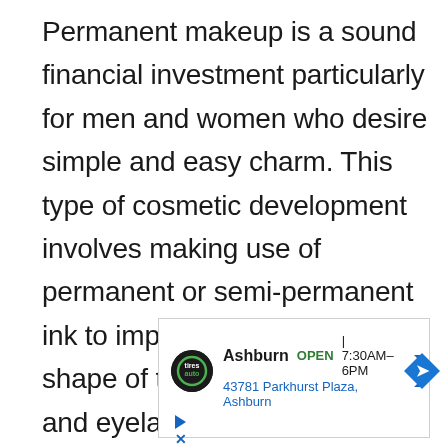Permanent makeup is a sound financial investment particularly for men and women who desire simple and easy charm. This type of cosmetic development involves making use of permanent or semi-permanent ink to improve the color or shape of the lips, eyebrows, and eyelashes. The majority of the permanent make-up procedures take about 2 to 4 hours.
[Figure (other): Advertisement banner for Tire Auto shop in Ashburn showing logo, OPEN status, hours 7:30AM-6PM, address 43781 Parkhurst Plaza Ashburn, and navigation arrow icon]